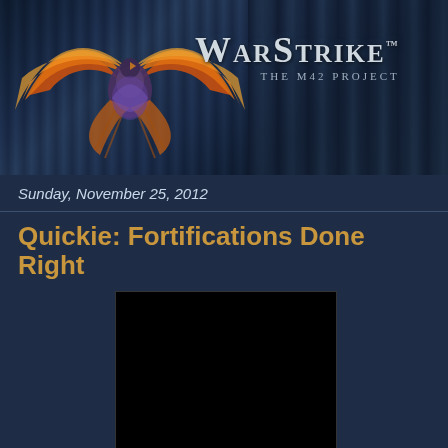[Figure (logo): WarStrike: The M42 Project logo with orange/gold phoenix wings and stylized bird emblem on dark fantasy background with stone column textures]
Sunday, November 25, 2012
Quickie: Fortifications Done Right
[Figure (other): Embedded video player showing black/empty video content]